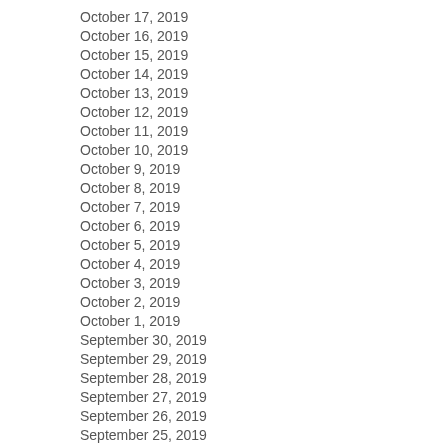October 17, 2019
October 16, 2019
October 15, 2019
October 14, 2019
October 13, 2019
October 12, 2019
October 11, 2019
October 10, 2019
October 9, 2019
October 8, 2019
October 7, 2019
October 6, 2019
October 5, 2019
October 4, 2019
October 3, 2019
October 2, 2019
October 1, 2019
September 30, 2019
September 29, 2019
September 28, 2019
September 27, 2019
September 26, 2019
September 25, 2019